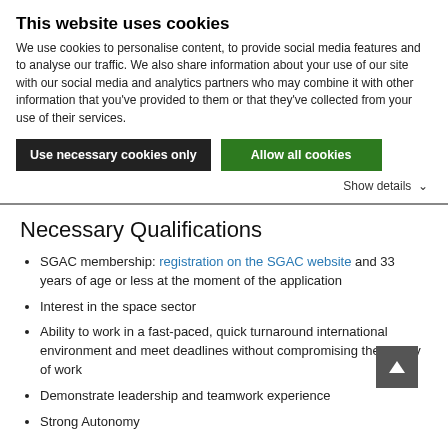This website uses cookies
We use cookies to personalise content, to provide social media features and to analyse our traffic. We also share information about your use of our site with our social media and analytics partners who may combine it with other information that you've provided to them or that they've collected from your use of their services.
Use necessary cookies only | Allow all cookies
Show details
Necessary Qualifications
SGAC membership: registration on the SGAC website and 33 years of age or less at the moment of the application
Interest in the space sector
Ability to work in a fast-paced, quick turnaround international environment and meet deadlines without compromising the quality of work
Demonstrate leadership and teamwork experience
Strong Autonomy